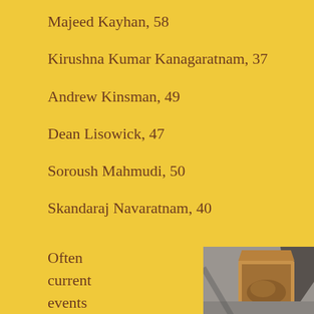Majeed Kayhan, 58
Kirushna Kumar Kanagaratnam, 37
Andrew Kinsman, 49
Dean Lisowick, 47
Soroush Mahmudi, 50
Skandaraj Navaratnam, 40
Often current events get
[Figure (photo): An open cardboard box with crumpled brown paper inside, photographed outdoors on pavement with shadows visible.]